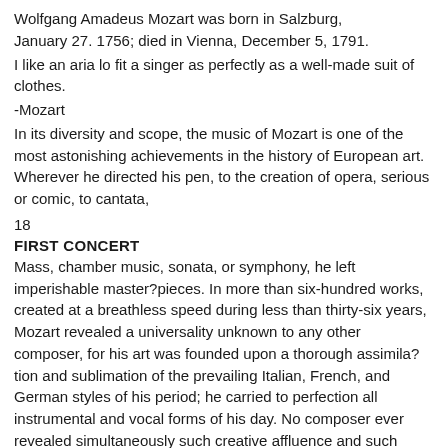Wolfgang Amadeus Mozart was born in Salzburg, January 27. 1756; died in Vienna, December 5, 1791.
I like an aria lo fit a singer as perfectly as a well-made suit of clothes.
-Mozart
In its diversity and scope, the music of Mozart is one of the most astonishing achievements in the history of European art. Wherever he directed his pen, to the creation of opera, serious or comic, to cantata,
18
FIRST CONCERT
Mass, chamber music, sonata, or symphony, he left imperishable master?pieces. In more than six-hundred works, created at a breathless speed during less than thirty-six years, Mozart revealed a universality unknown to any other composer, for his art was founded upon a thorough assimila?tion and sublimation of the prevailing Italian, French, and German styles of his period; he carried to perfection all instrumental and vocal forms of his day. No composer ever revealed simultaneously such creative affluence and such unerring instinct for beauty. Few artists in any age have been so copious and yet so controlled, or have so consistently sustained through?out their creative lives such a high level of